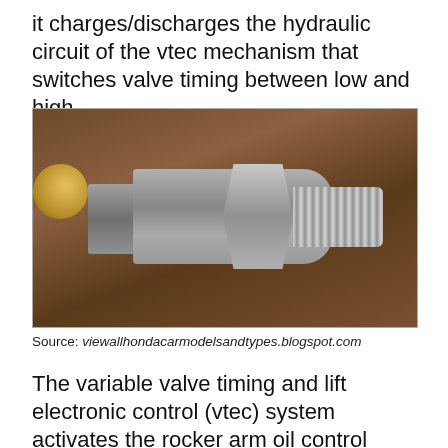it charges/discharges the hydraulic circuit of the vtec mechanism that switches valve timing between low and high.
[Figure (photo): A VTEC oil pressure switch/sensor component with hexagonal body, threaded end, and electrical connector pins, photographed on a wooden surface. A gold-colored fitting is visible on the left edge.]
Source: viewallhondacarmodelsandtypes.blogspot.com
The variable valve timing and lift electronic control (vtec) system activates the rocker arm oil control solenoid (vtec solenoid valve)